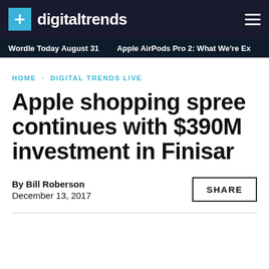digitaltrends
Wordle Today August 31 · Apple AirPods Pro 2: What We're Ex...
HOME · DIGITAL TRENDS LIVE
Apple shopping spree continues with $390M investment in Finisar
By Bill Roberson
December 13, 2017
SHARE